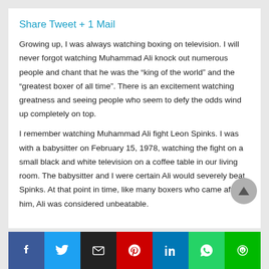Share Tweet + 1 Mail
Growing up, I was always watching boxing on television. I will never forgot watching Muhammad Ali knock out numerous people and chant that he was the “king of the world” and the “greatest boxer of all time”. There is an excitement watching greatness and seeing people who seem to defy the odds wind up completely on top.
I remember watching Muhammad Ali fight Leon Spinks. I was with a babysitter on February 15, 1978, watching the fight on a small black and white television on a coffee table in our living room. The babysitter and I were certain Ali would severely beat Spinks. At that point in time, like many boxers who came after him, Ali was considered unbeatable.
Social share bar: Facebook, Twitter, Email, Pinterest, LinkedIn, WhatsApp, LINE